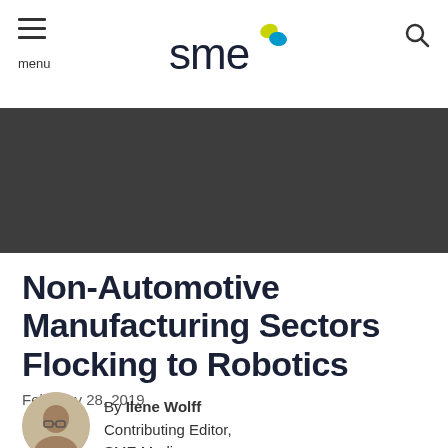SME — menu / logo / search
[Figure (other): Dark gray banner image placeholder below the navigation bar]
Non-Automotive Manufacturing Sectors Flocking to Robotics
February 28, 2019
By Ilene Wolff
Contributing Editor,
SME Media